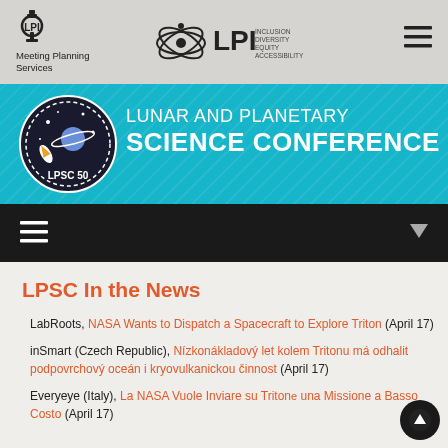[Figure (logo): LPI Meeting Planning Services logo (left) and LPI Inclusion Diversity Equity Accessibility logo (center), hamburger menu icon (right) on gray header bar]
[Figure (logo): Lunar and Planetary Science Conference LPSC 50 banner with circular emblem on teal/cyan background with diagonal stripe pattern]
[Figure (infographic): Dark navigation bar with hamburger menu icon on left and triangle/dropdown icon on right]
LPSC In the News
LabRoots, NASA Wants to Dispatch a Spacecraft to Explore Triton (April 17)
inSmart (Czech Republic), Nízkonákladový let kolem Tritonu má odhalit podpovrchový oceán i kryovulkanickou činnost (April 17)
Everyeye (Italy), La NASA Vuole Inviare su Tritone una Missione a Basso Costo (April 17)